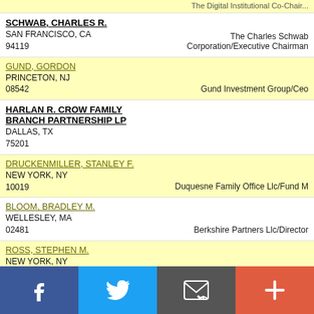SCHWAB, CHARLES R. / SAN FRANCISCO, CA 94119 / The Charles Schwab Corporation/Executive Chairman
GUND, GORDON / PRINCETON, NJ 08542 / Gund Investment Group/Ceo
HARLAN R. CROW FAMILY BRANCH PARTNERSHIP LP / DALLAS, TX 75201
DRUCKENMILLER, STANLEY F. / NEW YORK, NY 10019 / Duquesne Family Office Llc/Fund M
BLOOM, BRADLEY M. / WELLESLEY, MA 02481 / Berkshire Partners Llc/Director
ROSS, STEPHEN M. / NEW YORK, NY 10002 / Related Companies/Chairman
HILLWOOD DEVELOPMENT COMPANY LLC / DALLAS, TX 75219
AMERICAN SOCIETY OF ANESTHESIOLOGISTS PAC / SCHAUMBURG, IL 60173
Facebook | Twitter | Email | More